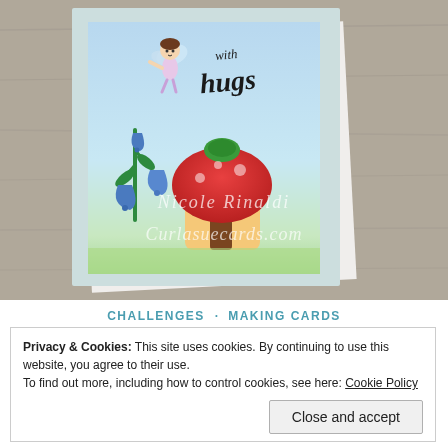[Figure (photo): A handmade greeting card photographed on a weathered wood surface. The card features a fairy character, blue bell flowers, a red mushroom fairy house, and the text 'with hugs' in a handwritten style. Watermarks read 'Nicole Rinaldi' and 'Curlasuecards.com'.]
CHALLENGES · MAKING CARDS
Privacy & Cookies: This site uses cookies. By continuing to use this website, you agree to their use.
To find out more, including how to control cookies, see here: Cookie Policy
Close and accept